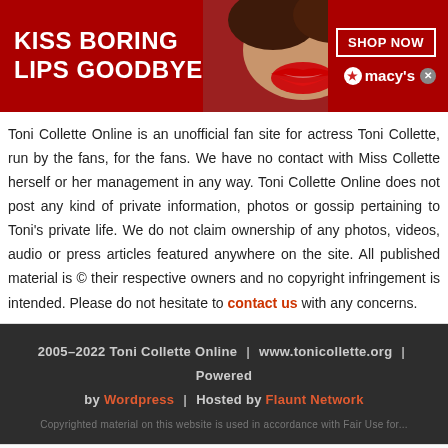[Figure (illustration): Red Macy's advertisement banner with text 'KISS BORING LIPS GOODBYE' on the left, a woman's face/lips in the center, and 'SHOP NOW' button with Macy's star logo on the right]
Toni Collette Online is an unofficial fan site for actress Toni Collette, run by the fans, for the fans. We have no contact with Miss Collette herself or her management in any way. Toni Collette Online does not post any kind of private information, photos or gossip pertaining to Toni's private life. We do not claim ownership of any photos, videos, audio or press articles featured anywhere on the site. All published material is © their respective owners and no copyright infringement is intended. Please do not hesitate to contact us with any concerns.
2005-2022 Toni Collette Online | www.tonicollette.org | Powered by Wordpress | Hosted by Flaunt Network
[Figure (illustration): Belk advertisement banner with 'STEP OUT IN STYLE' label, BELK brand name, two product thumbnail images, 'Step out in style.' slogan, www.belk.com URL, close button, and blue arrow navigation button]